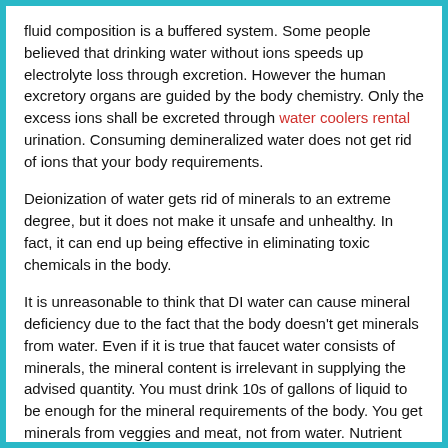fluid composition is a buffered system. Some people believed that drinking water without ions speeds up electrolyte loss through excretion. However the human excretory organs are guided by the body chemistry. Only the excess ions shall be excreted through water coolers rental urination. Consuming demineralized water does not get rid of ions that your body requirements.
Deionization of water gets rid of minerals to an extreme degree, but it does not make it unsafe and unhealthy. In fact, it can end up being effective in eliminating toxic chemicals in the body.
It is unreasonable to think that DI water can cause mineral deficiency due to the fact that the body doesn't get minerals from water. Even if it is true that faucet water consists of minerals, the mineral content is irrelevant in supplying the advised quantity. You must drink 10s of gallons of liquid to be enough for the mineral requirements of the body. You get minerals from veggies and meat, not from water. Nutrient deficiency is the result of wrong food option not a result of drinking pure water.